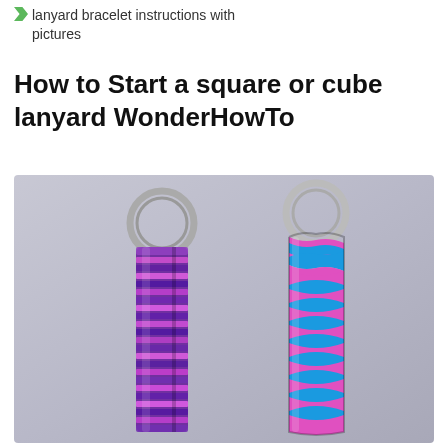lanyard bracelet instructions with pictures
How to Start a square or cube lanyard WonderHowTo
[Figure (photo): Two woven lanyard keychains with metal key rings at the top. The left one is purple and pink/magenta woven in a flat square stitch pattern. The right one is blue and pink twisted in a spiral/cube lanyard pattern. Both are hanging vertically with silver key rings at the top.]